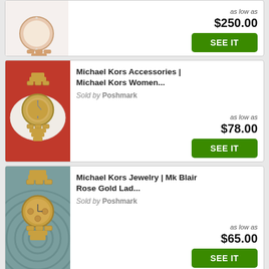[Figure (photo): Partial view of a rose gold watch on a white background, cut off at top]
as low as $250.00
SEE IT
[Figure (photo): Gold Michael Kors watch displayed on a white pillow against a red background]
Michael Kors Accessories | Michael Kors Women...
Sold by Poshmark
as low as $78.00
SEE IT
[Figure (photo): Rose gold Michael Kors chronograph watch on a woven teal/grey surface]
Michael Kors Jewelry | Mk Blair Rose Gold Lad...
Sold by Poshmark
as low as $65.00
SEE IT